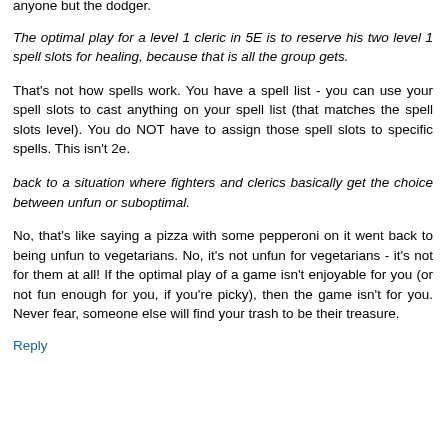anyone but the dodger.
The optimal play for a level 1 cleric in 5E is to reserve his two level 1 spell slots for healing, because that is all the group gets.
That's not how spells work. You have a spell list - you can use your spell slots to cast anything on your spell list (that matches the spell slots level). You do NOT have to assign those spell slots to specific spells. This isn't 2e.
back to a situation where fighters and clerics basically get the choice between unfun or suboptimal.
No, that's like saying a pizza with some pepperoni on it went back to being unfun to vegetarians. No, it's not unfun for vegetarians - it's not for them at all! If the optimal play of a game isn't enjoyable for you (or not fun enough for you, if you're picky), then the game isn't for you. Never fear, someone else will find your trash to be their treasure.
Reply